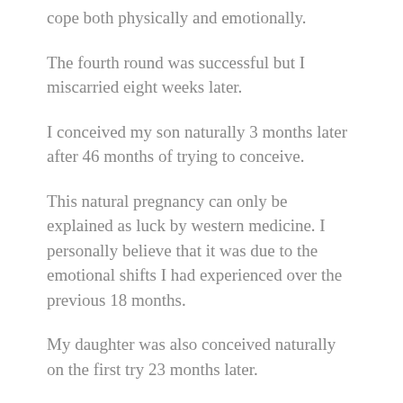cope both physically and emotionally.
The fourth round was successful but I miscarried eight weeks later.
I conceived my son naturally 3 months later after 46 months of trying to conceive.
This natural pregnancy can only be explained as luck by western medicine. I personally believe that it was due to the emotional shifts I had experienced over the previous 18 months.
My daughter was also conceived naturally on the first try 23 months later.
I add adapted and added to the course over the years to give you an even deeper